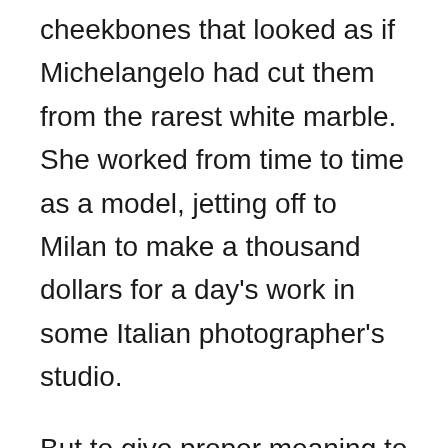cheekbones that looked as if Michelangelo had cut them from the rarest white marble. She worked from time to time as a model, jetting off to Milan to make a thousand dollars for a day's work in some Italian photographer's studio.
But to give proper meaning to "spectacle," you must add to Dorothy's spindly physique an endless assortment of camp, for she rarely left the house before endowing herself with any and every accessory of adolescent outrage -- from a clattering excess of costume jewelry to knee-high combat boots with red laces. She was part scarecrow, part origami crane, done up in Halloween gothic like an unpaid extra from "The Rocky Horror Picture Show." On the evening of